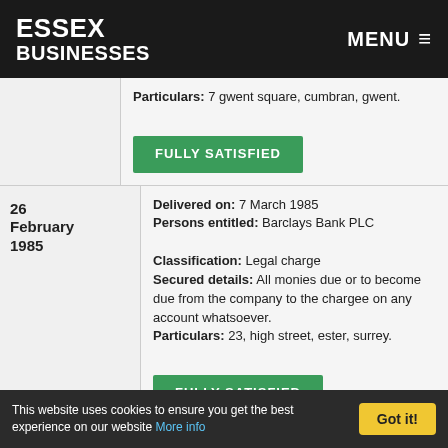ESSEX BUSINESSES | MENU
Particulars: 7 gwent square, cumbran, gwent.
FULLY SATISFIED
26 February 1985
Delivered on: 7 March 1985
Persons entitled: Barclays Bank PLC
Classification: Legal charge
Secured details: All monies due or to become due from the company to the chargee on any account whatsoever.
Particulars: 23, high street, ester, surrey.
FULLY SATISFIED
This website uses cookies to ensure you get the best experience on our website More info Got it!